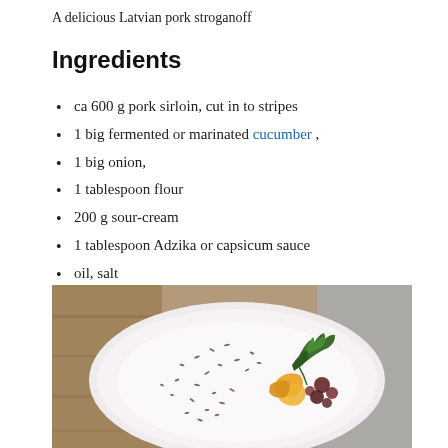A delicious Latvian pork stroganoff
Ingredients
ca 600 g pork sirloin, cut in to stripes
1 big fermented or marinated cucumber ,
1 big onion,
1 tablespoon flour
200 g sour-cream
1 tablespoon Adzika or capsicum sauce
oil, salt
[Figure (photo): A white oval plate with food garnish including orange pieces, dark red items, and green herbs/arugula leaves with scattered seeds on the plate, placed on a wooden surface with grey napkin.]